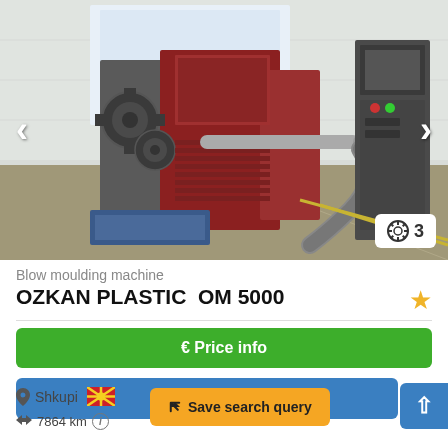[Figure (photo): Industrial blow moulding machine OZKAN PLASTIC OM 5000 in a warehouse, showing a large red and grey mechanical machine with gears and pipes on a concrete floor. Navigation arrows on left and right sides of the image. Image count badge showing 3 in bottom right.]
Blow moulding machine
OZKAN PLASTIC  OM 5000
€ Price info
✆ Call
📍 Shkupi 🇲🇰
🏴 7864 km ℹ
✈ Save search query